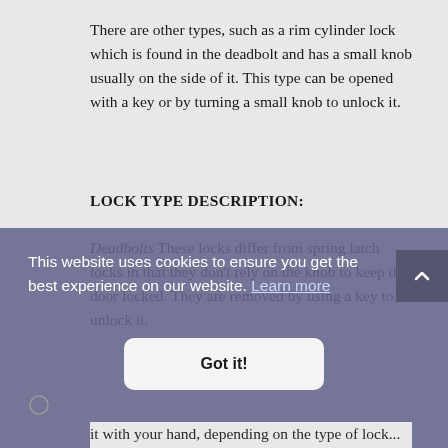There are other types, such as a rim cylinder lock which is found in the deadbolt and has a small knob usually on the side of it. This type can be opened with a key or by turning a small knob to unlock it.
LOCK TYPE DESCRIPTION:
Deadbolts These locks differ from spring latch locks in that they don't rely on the knob to keep the door locked. They are removed by using a key to unlock it.
This website uses cookies to ensure you get the best experience on our website. Learn more
Got it!
it with your hand, depending on the type of lock...